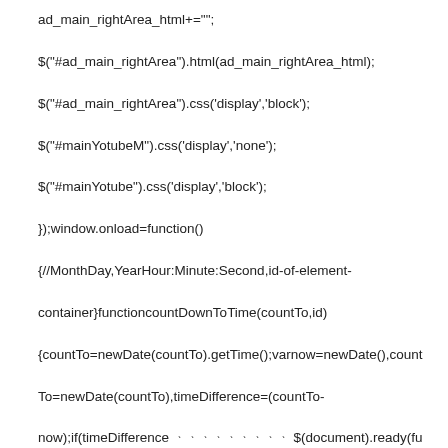ad_main_rightArea_html+="";
$("#ad_main_rightArea").html(ad_main_rightArea_html);
$("#ad_main_rightArea").css('display','block');
$("#mainYotubeM").css('display','none');
$("#mainYotube").css('display','block');
});window.onload=function()
{//MonthDay,YearHour:Minute:Second,id-of-element-container}functioncountDownToTime(countTo,id)
{countTo=newDate(countTo).getTime();varnow=newDate(),countTo=newDate(countTo),timeDifference=(countTo-now);if(timeDifference ᆞᆞᆞᆞᆞᆞᆞᆞᆞ $(document).ready(function(){
setTimeout(function(){ //layer_open('wrap_popup'); },300);
});functionlayer_open(el){ vartemp=$('#'+el); //ᆞᆞᆞᆞid᷊tempᆞᆞᆞᆞᆞ
varresult=getCookie('wrap_popup'); console.log('result:'+result);
if(result=='end'){ returnfalse; }else{ temp.show();
}}functionsetCookie(cname,value,expire){
console.log('setCookie'); vartodayValue=newDate(); //ᆞᆞᆞᆞᆞᆞᆞᆞᆞᆞ
todayValue.setDate(todayValue.getDate()+expire);
document.cookie=cname+"="+encodeURI(value)+";expires="+todayValue.toGMTString()+";path=/;"; }